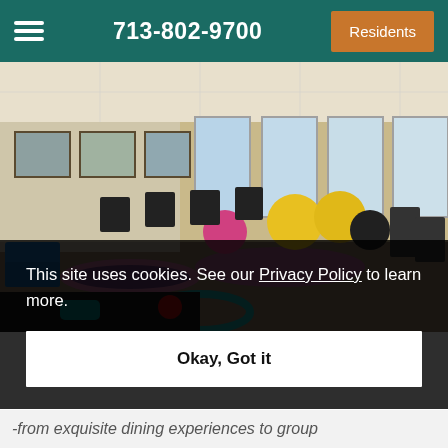713-802-9700   Residents
[Figure (photo): Interior photo of a fitness/activity room with exercise mats, yoga balls, chairs, and large windows. Room has colorful equipment scattered on the floor.]
This site uses cookies. See our Privacy Policy to learn more.
Okay, Got it
-from exquisite dining experiences to group